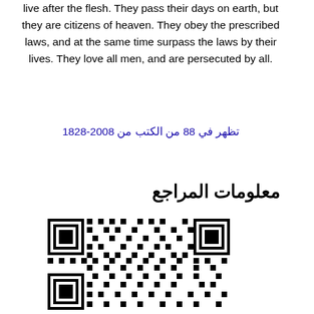live after the flesh. They pass their days on earth, but they are citizens of heaven. They obey the prescribed laws, and at the same time surpass the laws by their lives. They love all men, and are persecuted by all.
تظهر في 88 من الكتب من 1828-2008
معلومات المراجع
[Figure (other): QR code image]